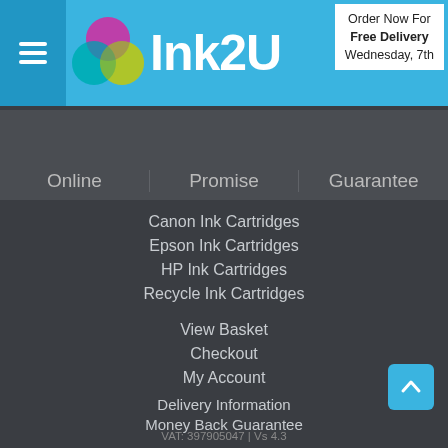Ink2U — Order Now For Free Delivery Wednesday, 7th
Online   Promise   Guarantee
Canon Ink Cartridges
Epson Ink Cartridges
HP Ink Cartridges
Recycle Ink Cartridges
View Basket
Checkout
My Account
Delivery Information
Money Back Guarantee
Lowest Price Promise
Help & Information
Policies
Contact Us
VAT: 397905047 | Vs 4.3